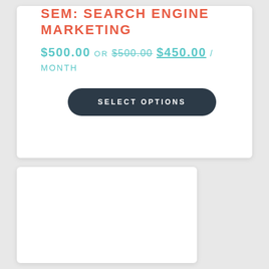SEM: SEARCH ENGINE MARKETING
$500.00 OR $500.00 $450.00 / MONTH
SELECT OPTIONS